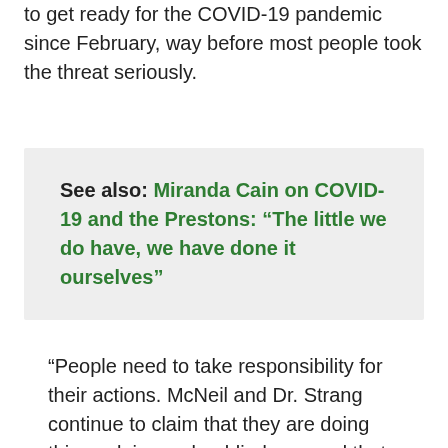to get ready for the COVID-19 pandemic since February, way before most people took the threat seriously.
See also: Miranda Cain on COVID-19 and the Prestons: “The little we do have, we have done it ourselves”
“People need to take responsibility for their actions. McNeil and Dr. Strang continue to claim that they are doing this work in a colourblind way and that they’re treating everybody equally, even though that is obviously not the case. Ideally, they should  give an unreserved apology,” says Dryden.
Rather than always McNeil and Strang sharing the press conference platform, they should work with a